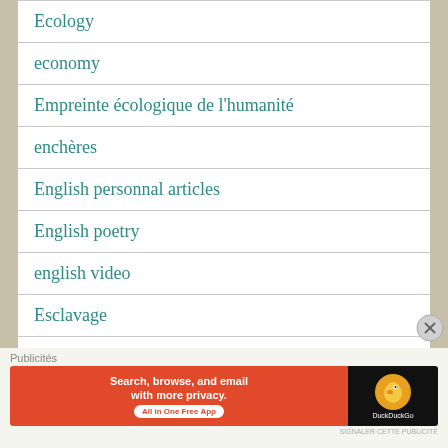Ecology
economy
Empreinte écologique de l'humanité
enchères
English personnal articles
English poetry
english video
Esclavage
Publicités
[Figure (screenshot): DuckDuckGo advertisement banner: 'Search, browse, and email with more privacy. All in One Free App' on orange background with DuckDuckGo duck logo on dark background]